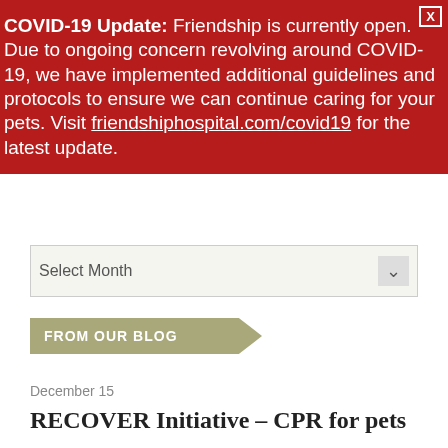COVID-19 Update: Friendship is currently open. Due to ongoing concern revolving around COVID-19, we have implemented additional guidelines and protocols to ensure we can continue caring for your pets. Visit friendshiphospital.com/covid19 for the latest update.
Select Month
FROM OUR BLOG
December 15
RECOVER Initiative – CPR for pets
What is CPR? How helpful is it from a pet owner's perspective? Cardiopulmonary resuscitation, also known as CPR, is an emergency first aid technique that…
Learn More | View More